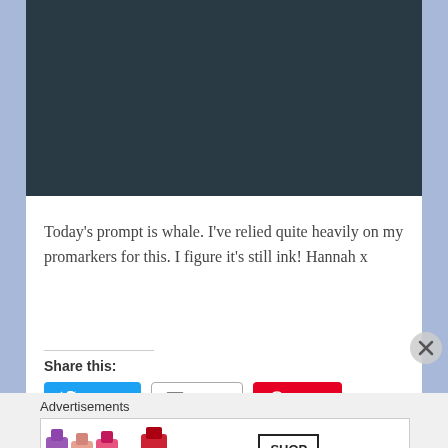[Figure (photo): Dark teal/charcoal textured background image at top of page]
Today's prompt is whale. I've relied quite heavily on my promarkers for this. I figure it's still ink! Hannah x
Share this:
[Figure (infographic): Share buttons: Tweet (blue), Email (outlined), Save (red Pinterest)]
Loading...
Advertisements
[Figure (screenshot): MAC cosmetics advertisement banner with lipsticks and SHOP NOW text]